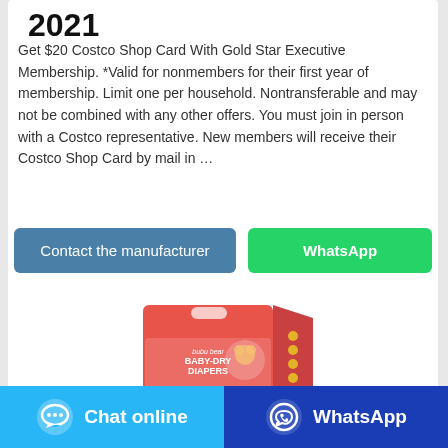2021
Get $20 Costco Shop Card With Gold Star Executive Membership. *Valid for nonmembers for their first year of membership. Limit one per household. Nontransferable and may not be combined with any other offers. You must join in person with a Costco representative. New members will receive their Costco Shop Card by mail in …
[Figure (other): Two action buttons: 'Contact the manufacturer' (blue-grey) and 'WhatsApp' (green)]
[Figure (photo): Product photo of bubu bear Baby-Dry Diapers in a pink/red box]
[Figure (other): Footer bar with two buttons: 'Chat online' (light blue with chat icon) and 'WhatsApp' (dark blue with WhatsApp icon)]